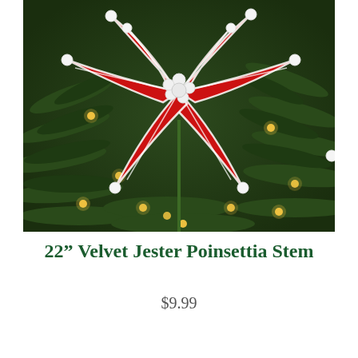[Figure (photo): Close-up photo of a red velvet poinsettia ornament with white trim and white ball accents, displayed on a green Christmas tree with warm golden lights in the background.]
22” Velvet Jester Poinsettia Stem
$9.99